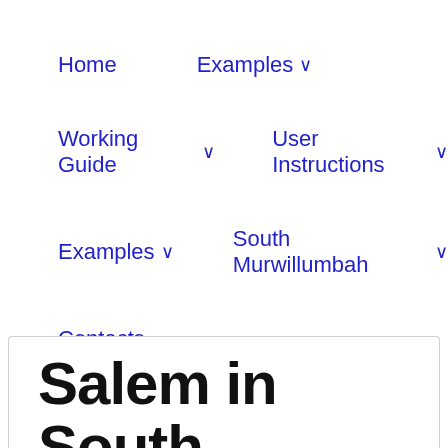Home | Examples ∨ | Working Guide ∨ | User Instructions ∨ | Examples ∨ | South Murwillumbah ∨ | Contacts
Salem in South Bruce, Bruce